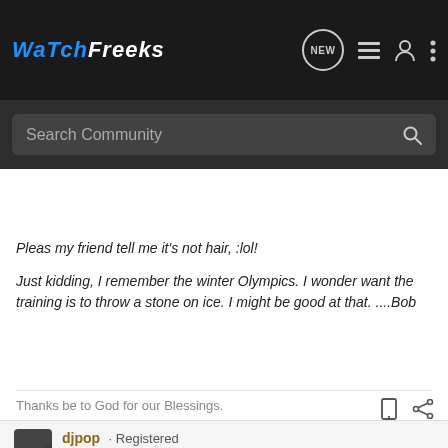WatchFreeks — Search Community
Pleas my friend tell me it's not hair, :lol!
Just kidding, I remember the winter Olympics. I wonder want the training is to throw a stone on ice. I might be good at that. ....Bob
Thanks be to God for our Blessings.
djpop · Registered
Joined Oct 11, 2009 · 6,217 Posts